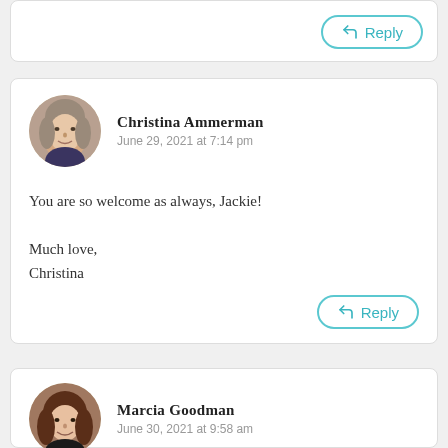[Figure (other): Partial comment card with a Reply button visible at top]
Reply
[Figure (photo): Circular profile photo of Christina Ammerman, a woman with gray/blonde hair]
Christina Ammerman
June 29, 2021 at 7:14 pm
You are so welcome as always, Jackie!

Much love,
Christina
Reply
[Figure (photo): Circular profile photo of Marcia Goodman, a woman with brown/dark hair]
Marcia Goodman
June 30, 2021 at 9:58 am